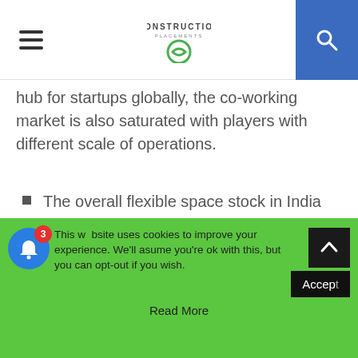Construction Placements
hub for startups globally, the co-working market is also saturated with players with different scale of operations.
The overall flexible space stock in India has increased by about 50%, from 10 million sq. ft. in 2017to about 15 million sq. ft. by Q3 2018; positioning it amongst the largest flexible space markets in the entire APAC region. This is almost 2.7% of the overall commercial office stock of India.
This website uses cookies to improve your experience. We'll assume you're ok with this, but you can opt-out if you wish. Accept Read More